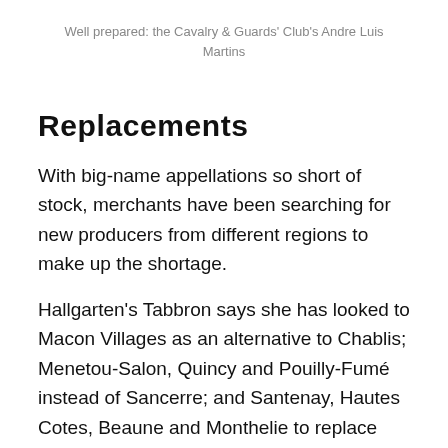Well prepared: the Cavalry & Guards' Club's Andre Luis Martins
Replacements
With big-name appellations so short of stock, merchants have been searching for new producers from different regions to make up the shortage.
Hallgarten's Tabbron says she has looked to Macon Villages as an alternative to Chablis; Menetou-Salon, Quincy and Pouilly-Fumé instead of Sancerre; and Santenay, Hautes Cotes, Beaune and Monthelie to replace Poli... and Meursault. Although she has not...